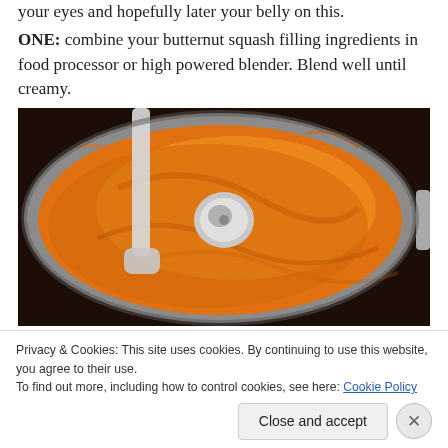your eyes and hopefully later your belly on this.
ONE: combine your butternut squash filling ingredients in food processor or high powered blender. Blend well until creamy.
[Figure (photo): Top-down view of a food processor bowl containing blended butternut squash filling — smooth, creamy orange mixture with a spatula and center cap visible.]
Privacy & Cookies: This site uses cookies. By continuing to use this website, you agree to their use.
To find out more, including how to control cookies, see here: Cookie Policy
Close and accept